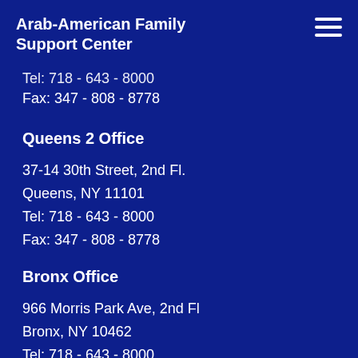Arab-American Family Support Center
Tel: 718 - 643 - 8000
Fax: 347 - 808 - 8778
Queens 2 Office
37-14 30th Street, 2nd Fl.
Queens, NY 11101
Tel: 718 - 643 - 8000
Fax: 347 - 808 - 8778
Bronx Office
966 Morris Park Ave, 2nd Fl
Bronx, NY 10462
Tel: 718 - 643 - 8000